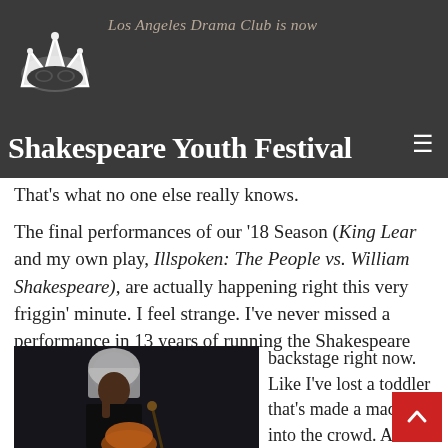Los Angeles Drama Club is now Shakespeare Youth Festival
That's what no one else really knows.
The final performances of our '18 Season (King Lear and my own play, Illspoken: The People vs. William Shakespeare), are actually happening right this very friggin' minute. I feel strange. I've never missed a performance in 13 years of running the Shakespeare Youth Fest! It's weird not being backstage right now. Like I've lost a toddler that's made a mad dash into the crowd. Aren't I supposed to be shushing the actors or teasing hair or getting Zane's bloody eyepatch to
[Figure (photo): Child actor in white wig and dark costume posing with a pumpkin prop on a dark background]